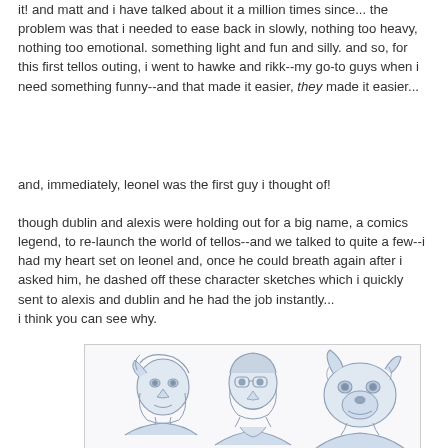it! and matt and i have talked about it a million times since... the problem was that i needed to ease back in slowly, nothing too heavy, nothing too emotional. something light and fun and silly. and so, for this first tellos outing, i went to hawke and rikk--my go-to guys when i need something funny--and that made it easier, they made it easier...
and, immediately, leonel was the first guy i thought of!
though dublin and alexis were holding out for a big name, a comics legend, to re-launch the world of tellos--and we talked to quite a few--i had my heart set on leonel and, once he could breath again after i asked him, he dashed off these character sketches which i quickly sent to alexis and dublin and he had the job instantly... i think you can see why.
[Figure (illustration): Pencil/ink character sketches of three fantasy characters in blue-gray tones, including what appear to be an elf-like figure on the left, a human character in the center, and a beast/animal character on the right.]